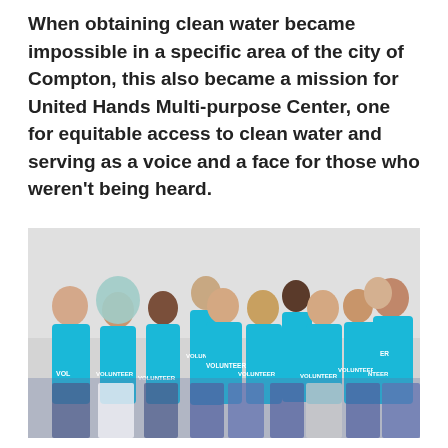When obtaining clean water became impossible in a specific area of the city of Compton, this also became a mission for United Hands Multi-purpose Center, one for equitable access to clean water and serving as a voice and a face for those who weren't being heard.
[Figure (photo): Group photo of approximately 13 diverse volunteers wearing bright cyan/turquoise t-shirts that read 'VOLUNTEER', posed together smiling against a light gray background.]